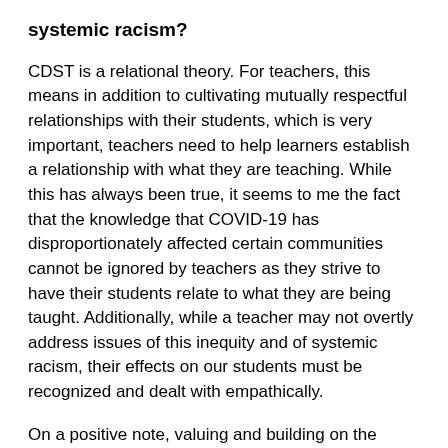systemic racism?
CDST is a relational theory. For teachers, this means in addition to cultivating mutually respectful relationships with their students, which is very important, teachers need to help learners establish a relationship with what they are teaching. While this has always been true, it seems to me the fact that the knowledge that COVID-19 has disproportionately affected certain communities cannot be ignored by teachers as they strive to have their students relate to what they are being taught. Additionally, while a teacher may not overtly address issues of this inequity and of systemic racism, their effects on our students must be recognized and dealt with empathically.
On a positive note, valuing and building on the diverse repertoires of multilingual learners not only can have a felicitous effect on their language learning, it can also